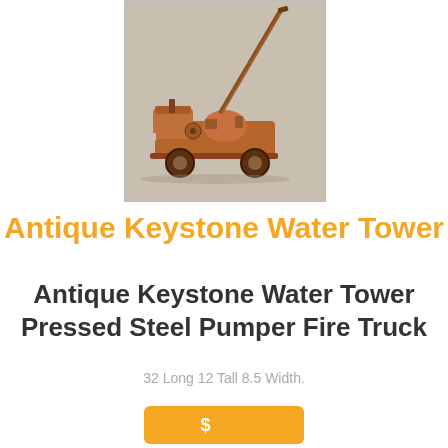[Figure (photo): Antique Keystone pressed steel water tower pumper fire truck toy, reddish-brown color, with extended diagonal ladder/tower, photographed on white background]
Antique Keystone Water Tower
Antique Keystone Water Tower Pressed Steel Pumper Fire Truck
32 Long 12 Tall 8.5 Width.
[Figure (other): Orange button partially visible at bottom of page showing a price]